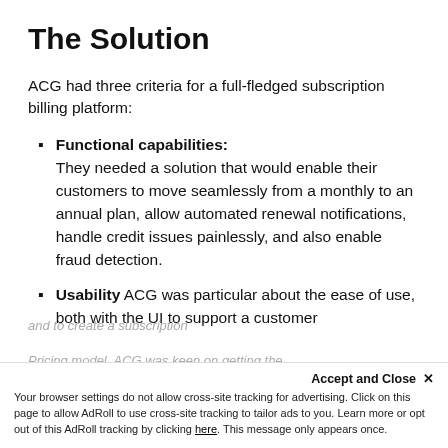The Solution
ACG had three criteria for a full-fledged subscription billing platform:
Functional capabilities: They needed a solution that would enable their customers to move seamlessly from a monthly to an annual plan, allow automated renewal notifications, handle credit issues painlessly, and also enable fraud detection.
Usability ACG was particular about the ease of use, both with the UI to support a customer and to create a subscription
Pricing model. ACG was keen on getting the
Accept and Close ✕
Your browser settings do not allow cross-site tracking for advertising. Click on this page to allow AdRoll to use cross-site tracking to tailor ads to you. Learn more or opt out of this AdRoll tracking by clicking here. This message only appears once.